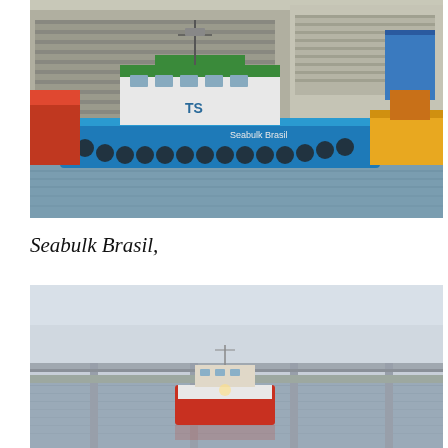[Figure (photo): A blue and white tugboat docked at a port with industrial warehouse buildings in the background. The vessel has green accents and rubber fenders along its hull. Other vessels and equipment visible in background.]
Seabulk Brasil,
[Figure (photo): A vessel seen from a distance on calm water with a large bridge spanning the background. The sky is light grey/hazy. The boat appears to have a red and white hull.]